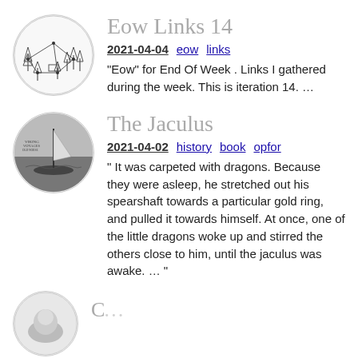[Figure (illustration): Circular thumbnail image showing a line diagram of trees and a network/triangulation scene]
Eow Links 14
2021-04-04  eow  links
"Eow" for End Of Week . Links I gathered during the week. This is iteration 14. …
[Figure (photo): Circular thumbnail photo of a sailing ship at sea, possibly a Viking longship]
The Jaculus
2021-04-02  history  book  opfor
" It was carpeted with dragons. Because they were asleep, he stretched out his spearshaft towards a particular gold ring, and pulled it towards himself. At once, one of the little dragons woke up and stirred the others close to him, until the jaculus was awake. … "
[Figure (illustration): Partial circular thumbnail visible at bottom of page]